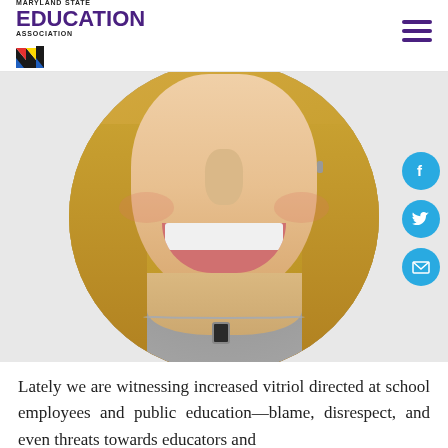Maryland State Education Association
[Figure (photo): Circular cropped portrait photo of a woman with blonde hair, smiling broadly, wearing a necklace with a dark pendant. Social media icons (Facebook, Twitter, Email) appear on the right side of the image.]
Lately we are witnessing increased vitriol directed at school employees and public education—blame, disrespect, and even threats towards educators and